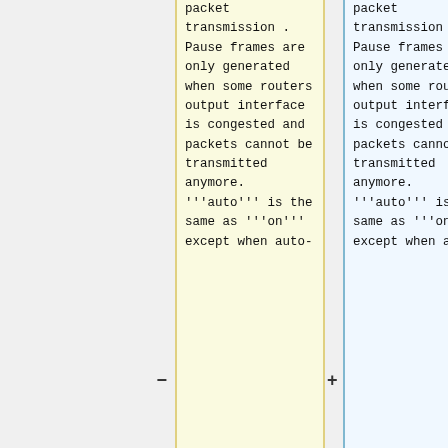packet transmission. Pause frames are only generated when some routers output interface is congested and packets cannot be transmitted anymore. '''auto''' is the same as '''on''' except when auto-
packet transmission. Pause frames are only generated when some routers output interface is congested and packets cannot be transmitted anymore. '''auto''' is the same as '''on''' except when auto-